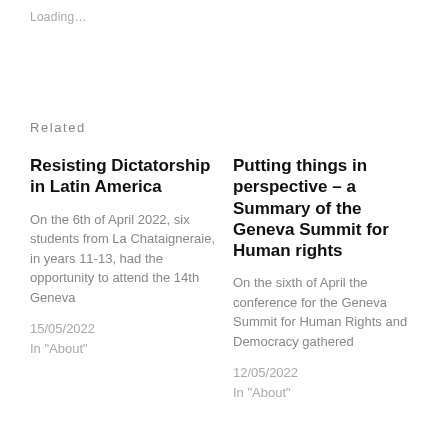Loading…
Related
Resisting Dictatorship in Latin America
On the 6th of April 2022, six students from La Chataigneraie, in years 11-13, had the opportunity to attend the 14th Geneva
15/05/2022
In "About"
Putting things in perspective – a Summary of the Geneva Summit for Human rights
On the sixth of April the conference for the Geneva Summit for Human Rights and Democracy gathered
12/05/2022
In "About"